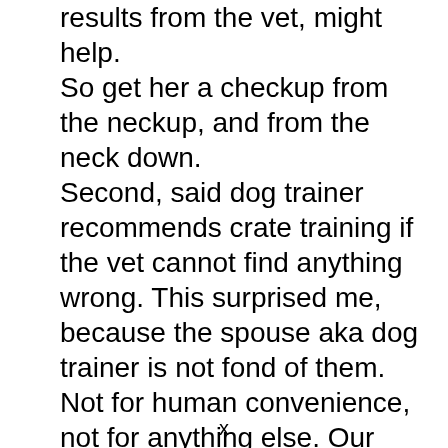results from the vet, might help. So get her a checkup from the neckup, and from the neck down. Second, said dog trainer recommends crate training if the vet cannot find anything wrong. This surprised me, because the spouse aka dog trainer is not fond of them. Not for human convenience, not for anything else. Our three have NEVER been crated. And they have made their “mistakes,” (though while new to the
x